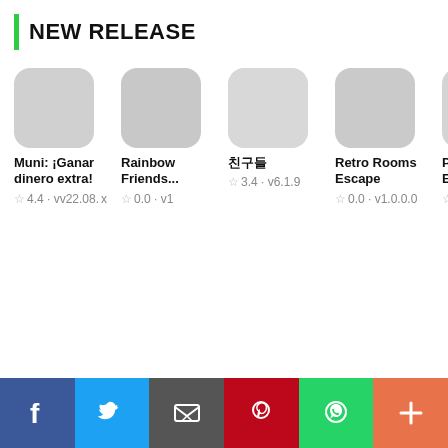NEW RELEASE
[Figure (screenshot): A horizontal scrollable list of app cards showing new releases. Apps shown: Muni: ¡Ganar dinero extra! (rating 4.4, v22.08.x), Rainbow Friends... (rating 0.0, v1), 친구들 (rating 3.4, v6.1.9), Retro Rooms Escape (rating 0.0, v1.0.0.0), PRO Engli... (rating 0.0, partially visible)]
[Figure (infographic): Social sharing bar at bottom with six buttons: Facebook (blue), Twitter (light blue), Email/envelope (dark gray), Pinterest (red), WhatsApp (green), More/plus (orange)]